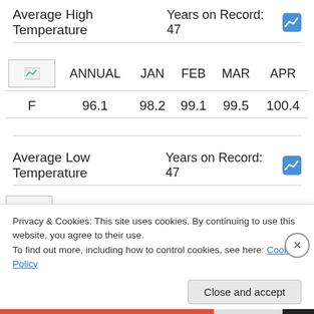Average High Temperature   Years on Record: 47
|  | ANNUAL | JAN | FEB | MAR | APR |
| --- | --- | --- | --- | --- | --- |
| F | 96.1 | 98.2 | 99.1 | 99.5 | 100.4 |
Average Low Temperature   Years on Record: 47
Privacy & Cookies: This site uses cookies. By continuing to use this website, you agree to their use.
To find out more, including how to control cookies, see here: Cookie Policy